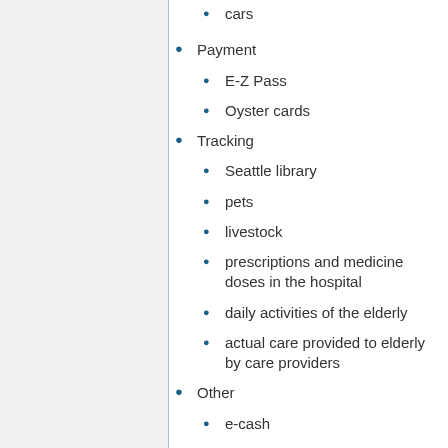cars
Payment
E-Z Pass
Oyster cards
Tracking
Seattle library
pets
livestock
prescriptions and medicine doses in the hospital
daily activities of the elderly
actual care provided to elderly by care providers
Other
e-cash
museums
race timing
reminder systems